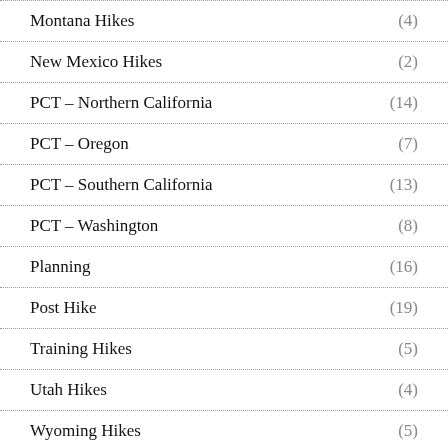Montana Hikes (4)
New Mexico Hikes (2)
PCT – Northern California (14)
PCT – Oregon (7)
PCT – Southern California (13)
PCT – Washington (8)
Planning (16)
Post Hike (19)
Training Hikes (5)
Utah Hikes (4)
Wyoming Hikes (5)